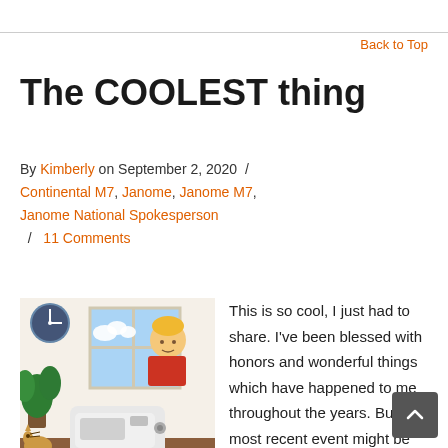Back to Top
The COOLEST thing
By Kimberly on September 2, 2020 / Continental M7, Janome, Janome M7, Janome National Spokesperson / 11 Comments
[Figure (illustration): Illustrated scene of a person using a sewing machine at a table with a plant, clock on wall, and window in background.]
This is so cool, I just had to share. I've been blessed with honors and wonderful things which have happened to me throughout the years. But this most recent event might be one of the coolest things